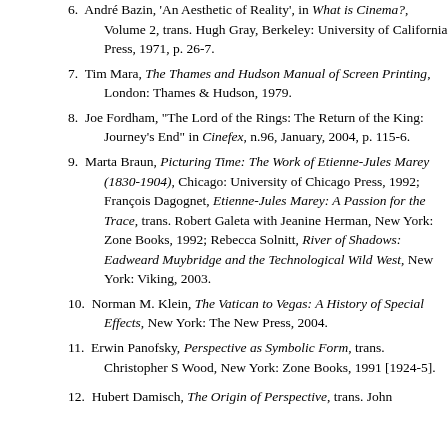6. André Bazin, 'An Aesthetic of Reality', in What is Cinema?, Volume 2, trans. Hugh Gray, Berkeley: University of California Press, 1971, p. 26-7.
7. Tim Mara, The Thames and Hudson Manual of Screen Printing, London: Thames & Hudson, 1979.
8. Joe Fordham, "The Lord of the Rings: The Return of the King: Journey's End" in Cinefex, n.96, January, 2004, p. 115-6.
9. Marta Braun, Picturing Time: The Work of Etienne-Jules Marey (1830-1904), Chicago: University of Chicago Press, 1992; François Dagognet, Etienne-Jules Marey: A Passion for the Trace, trans. Robert Galeta with Jeanine Herman, New York: Zone Books, 1992; Rebecca Solnitt, River of Shadows: Eadweard Muybridge and the Technological Wild West, New York: Viking, 2003.
10. Norman M. Klein, The Vatican to Vegas: A History of Special Effects, New York: The New Press, 2004.
11. Erwin Panofsky, Perspective as Symbolic Form, trans. Christopher S Wood, New York: Zone Books, 1991 [1924-5].
12. Hubert Damisch, The Origin of Perspective, trans. John